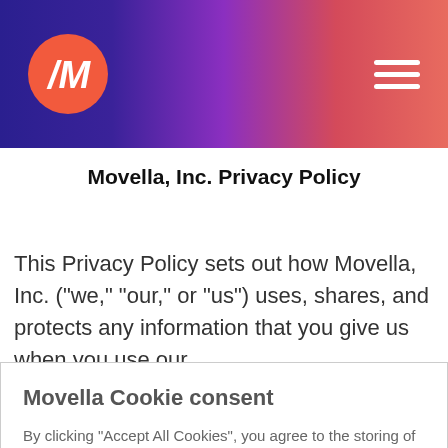[Figure (logo): Movella logo: pink/red circle with white stylized M/A lettermark, on a purple-to-red gradient header bar with hamburger menu icon on the right]
Movella, Inc. Privacy Policy
This Privacy Policy sets out how Movella, Inc. (“we,” “our,” or “us”) uses, shares, and protects any information that you give us when you use our
Movella Cookie consent
By clicking “Accept All Cookies”, you agree to the storing of cookies on your device to enhance site navigation, analyze site usage, and assist in our marketing efforts. Cookie Policy
Cookies Settings  |  Accept All Cookies